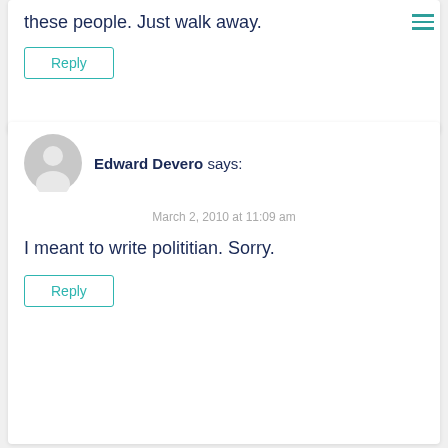[Figure (other): Hamburger menu icon (three horizontal teal lines) in top right corner]
these people. Just walk away.
Reply
[Figure (other): Generic user avatar (grey circle with person silhouette)]
Edward Devero says:
March 2, 2010 at 11:09 am
I meant to write polititian. Sorry.
Reply